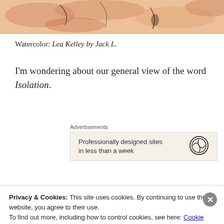[Figure (illustration): Top portion of a watercolor painting showing warm tones — peach, tan, and muted orange with gestural brushstrokes suggesting a figure or landscape]
Watercolor: Lea Kelley by Jack L.
I'm wondering about our general view of the word Isolation.
[Figure (screenshot): WordPress advertisement banner reading 'Professionally designed sites in less than a week' with WordPress logo on beige background]
Maybe because isolation is associated with loneliness, or quarantines, or separation from the familiar, we are averse
Privacy & Cookies: This site uses cookies. By continuing to use this website, you agree to their use.
To find out more, including how to control cookies, see here: Cookie Policy
Close and accept